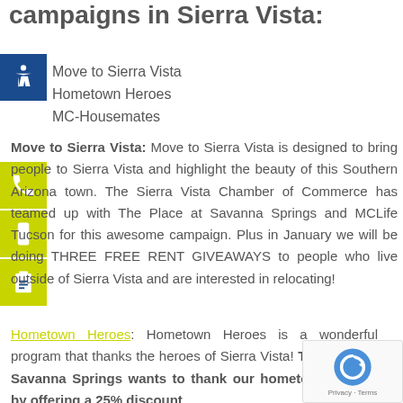campaigns in Sierra Vista:
Move to Sierra Vista
Hometown Heroes
MC-Housemates
Move to Sierra Vista: Move to Sierra Vista is designed to bring people to Sierra Vista and highlight the beauty of this Southern Arizona town. The Sierra Vista Chamber of Commerce has teamed up with The Place at Savanna Springs and MCLife Tucson for this awesome campaign. Plus in January we will be doing THREE FREE RENT GIVEAWAYS to people who live outside of Sierra Vista and are interested in relocating!
Hometown Heroes: Hometown Heroes is a wonderful program that thanks the heroes of Sierra Vista! The Place at Savanna Springs wants to thank our hometown heroes by offering a 25% discount